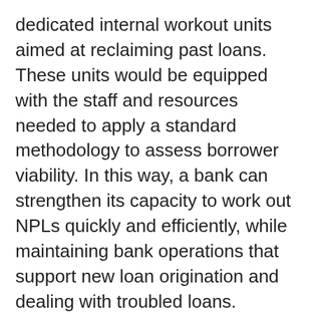dedicated internal workout units aimed at reclaiming past loans. These units would be equipped with the staff and resources needed to apply a standard methodology to assess borrower viability. In this way, a bank can strengthen its capacity to work out NPLs quickly and efficiently, while maintaining bank operations that support new loan origination and dealing with troubled loans.
Public policy interventions, such as national NPL resolution strategies for coordinating NPL resolution efforts across stakeholders in the economy, can also play a role in accelerating the reduction of bad debt. The government of Serbia, for example, established a national NPL working